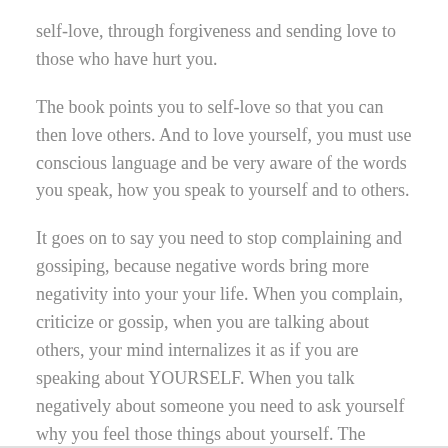self-love, through forgiveness and sending love to those who have hurt you.
The book points you to self-love so that you can then love others. And to love yourself, you must use conscious language and be very aware of the words you speak, how you speak to yourself and to others.
It goes on to say you need to stop complaining and gossiping, because negative words bring more negativity into your your life. When you complain, criticize or gossip, when you are talking about others, your mind internalizes it as if you are speaking about YOURSELF. When you talk negatively about someone you need to ask yourself why you feel those things about yourself. The things we dislike in others are the things we don't like about ourselves. Mic drop!